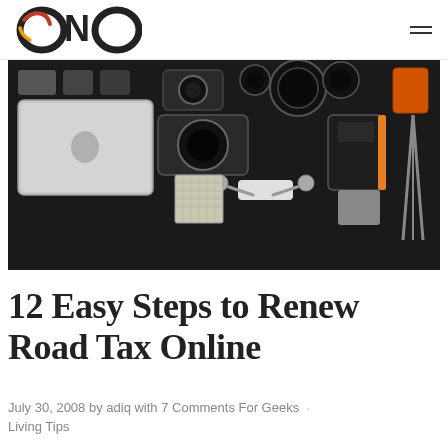ONO logo and navigation menu
[Figure (photo): Flat lay photo of tech gadgets and camera equipment on a dark background, including a MacBook laptop, DSLR cameras, lenses, a drone, and various accessories arranged neatly.]
12 Easy Steps to Renew Road Tax Online
July 30, 2008 by adiq with 7 Comments For Geeks · Living Tips